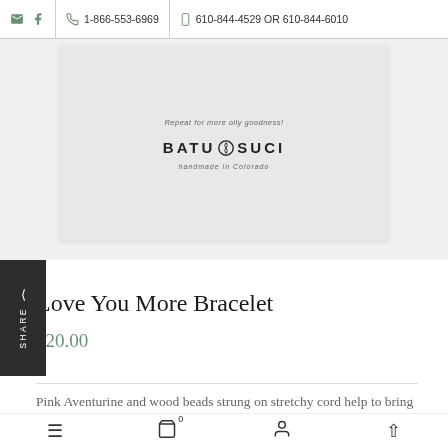✉ f  📞 1-866-553-6969  📱 610-844-4529 OR 610-844-6010
[Figure (photo): Batu Suci brand product packaging/card with tagline 'Repeat for more oily goodness!' and logo 'BATU SUCI handmade in Colorado']
Love You More Bracelet
$20.00
Pink Aventurine and wood beads strung on stretchy cord help to bring healthy and healing energy into your life. Wear one or stack a bunch! Strung durable stretchy cord. Fits wrist sizes 6.0 inches –
≡  🛒°  👤  ↑